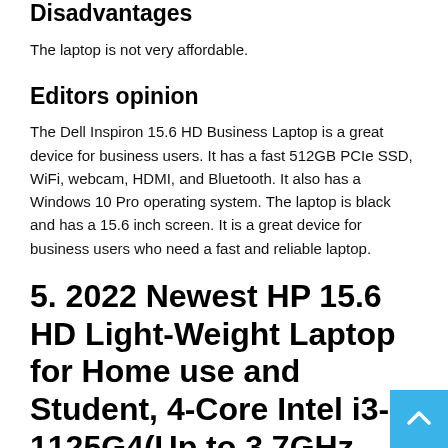Disadvantages
The laptop is not very affordable.
Editors opinion
The Dell Inspiron 15.6 HD Business Laptop is a great device for business users. It has a fast 512GB PCIe SSD, WiFi, webcam, HDMI, and Bluetooth. It also has a Windows 10 Pro operating system. The laptop is black and has a 15.6 inch screen. It is a great device for business users who need a fast and reliable laptop.
5. 2022 Newest HP 15.6 HD Light-Weight Laptop for Home use and Student, 4-Core Intel i3-1125G4(Up to 3.7GHz Beat i7-